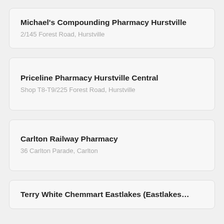Michael's Compounding Pharmacy Hurstville
2/145 Forest Road, Hurstville
Priceline Pharmacy Hurstville Central
Shop T8-T9/225 Forest Road, Hurstville
Carlton Railway Pharmacy
36 Carlton Parade, Carlton
Terry White Chemmart Eastlakes (Eastlakes…